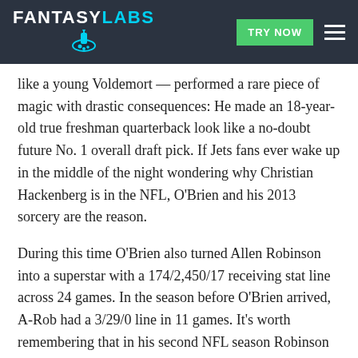FANTASY LABS | TRY NOW
like a young Voldemort — performed a rare piece of magic with drastic consequences: He made an 18-year-old true freshman quarterback look like a no-doubt future No. 1 overall draft pick. If Jets fans ever wake up in the middle of the night wondering why Christian Hackenberg is in the NFL, O’Brien and his 2013 sorcery are the reason.
During this time O’Brien also turned Allen Robinson into a superstar with a 174/2,450/17 receiving stat line across 24 games. In the season before O’Brien arrived, A-Rob had a 3/29/0 line in 11 games. It’s worth remembering that in his second NFL season Robinson had a top-five all-time campaign for a 22-year-old wideout. O’Brien helped develop that guy.
After Kubiak’s 2012-to-2013, 12-4-to-2-11 Matt Schaub/Case